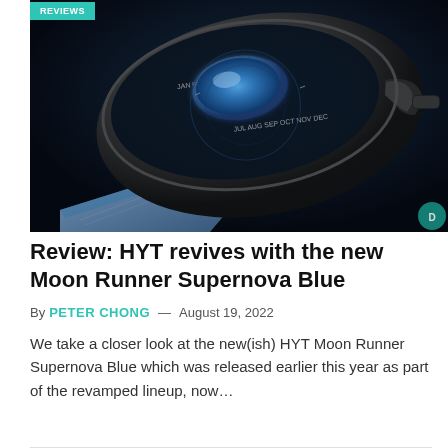[Figure (photo): Close-up product photo of the HYT Moon Runner Supernova Blue watch against a dark background, showing the watch from a side-top angle with a blue illuminated crown/dome element and a blue suede/textile strap.]
Review: HYT revives with the new Moon Runner Supernova Blue
By PETER CHONG — August 19, 2022
We take a closer look at the new(ish) HYT Moon Runner Supernova Blue which was released earlier this year as part of the revamped lineup, now…